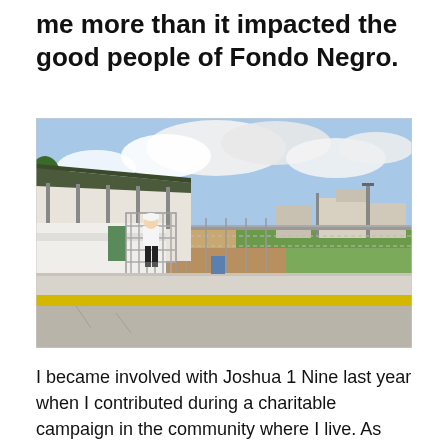me more than it impacted the good people of Fondo Negro.
[Figure (photo): Outdoor sports field with covered dugout/bleacher structure. A person in white shirt and dark shorts stands at a metal gate/entrance. In the background is a baseball/softball field with chain-link fencing, white buildings, light poles, and a partly cloudy blue sky. In the foreground is a concrete walkway with a yellow painted curb.]
I became involved with Joshua 1 Nine last year when I contributed during a charitable campaign in the community where I live. As